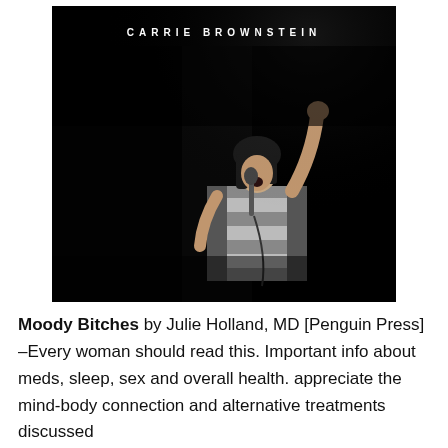[Figure (photo): Black and white photograph of Carrie Brownstein singing into a microphone with one arm raised, wearing a striped shirt. Text 'CARRIE BROWNSTEIN' appears at the top of the image in white spaced capital letters on a black background.]
Moody Bitches by Julie Holland, MD [Penguin Press] –Every woman should read this. Important info about meds, sleep, sex and overall health. appreciate the mind-body connection and alternative treatments discussed